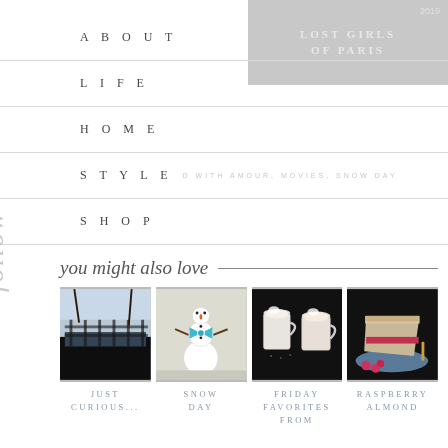[Figure (photo): Book cover for 'Lost Girls of Paris' partially visible at top right, gray overlay, 2019]
ABOUT
LIFE
HOME
STYLE
SHOP
you might also love
[Figure (photo): Snowy winter scene with fence and bare trees]
[Figure (photo): Small snowman with blue bow tie]
[Figure (photo): Two white mugs with hot drinks on dark background]
[Figure (photo): Slice of raspberry almond cake on blue plate]
JUST CURIOUS...
SNOW DAY
FRIDAY FAVORITES FROM
RASPBERRY ALMOND